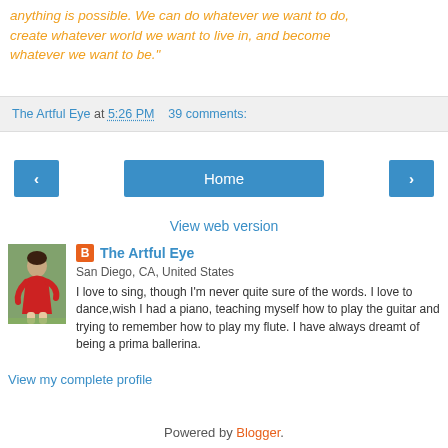anything is possible. We can do whatever we want to do, create whatever world we want to live in, and become whatever we want to be."
The Artful Eye at 5:26 PM   39 comments:
[Figure (screenshot): Navigation buttons: left arrow, Home, right arrow]
View web version
[Figure (photo): Profile photo of a person in red]
The Artful Eye
San Diego, CA, United States
I love to sing, though I'm never quite sure of the words. I love to dance,wish I had a piano, teaching myself how to play the guitar and trying to remember how to play my flute. I have always dreamt of being a prima ballerina.
View my complete profile
Powered by Blogger.